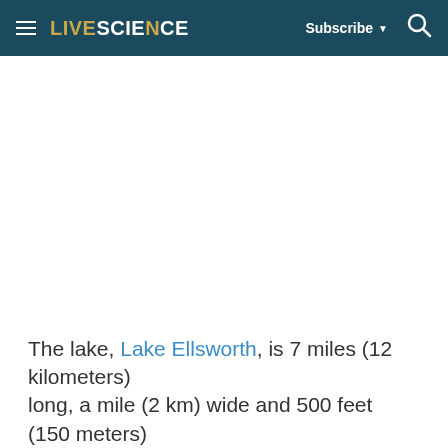LIVESCIENCE — Subscribe — Search
[Figure (other): Advertisement or blank content area (white space placeholder for image or ad unit)]
The lake, Lake Ellsworth, is 7 miles (12 kilometers) long, a mile (2 km) wide and 500 feet (150 meters)